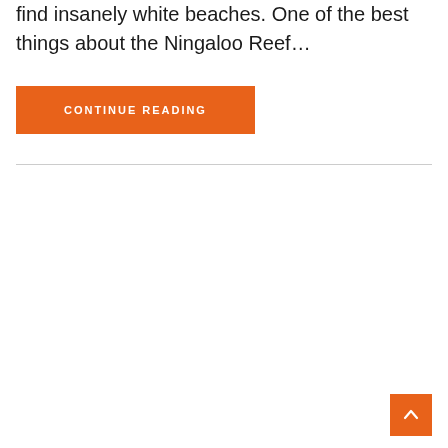find insanely white beaches. One of the best things about the Ningaloo Reef…
CONTINUE READING
↑